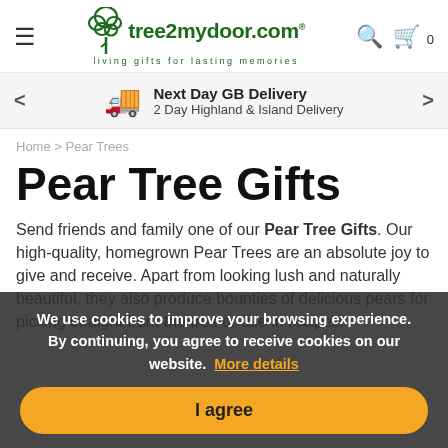tree2mydoor.com — living gifts for lasting memories
Next Day GB Delivery — 2 Day Highland & Island Delivery
Home > Pear Trees
Pear Tree Gifts
Send friends and family one of our Pear Tree Gifts. Our high-quality, homegrown Pear Trees are an absolute joy to give and receive. Apart from looking lush and naturally beautiful, they also produce bounties of delicious pears for picking straight from the tree or use in recipes.
We use cookies to improve your browsing experience. By continuing, you agree to receive cookies on our website. More details
I agree